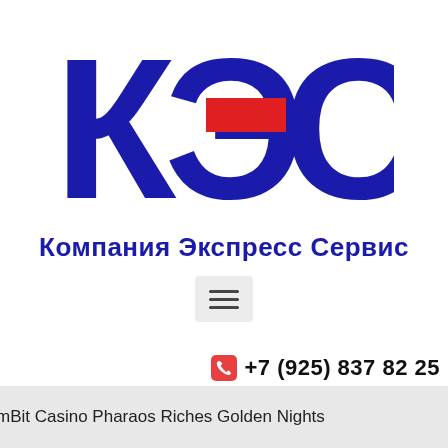[Figure (logo): КЭС logo — large dark blue Cyrillic letters К, Э, С with a red horizontal rectangle overlaid on the Э letter. Below the letters: 'Компания Экспресс Сервис' in bold dark blue.]
[Figure (other): Hamburger menu button (three horizontal lines) on a light grey rounded rectangle background.]
+7 (925) 837 82 25
Обратный звонок
mBit Casino Pharaos Riches Golden Nights